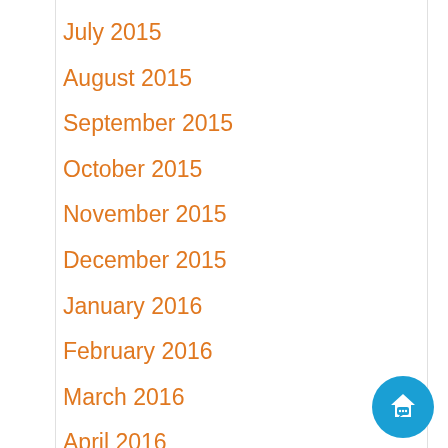July 2015
August 2015
September 2015
October 2015
November 2015
December 2015
January 2016
February 2016
March 2016
April 2016
May 2016
June 2016
July 2016
[Figure (illustration): Blue circular chat/home widget icon in bottom-right corner]